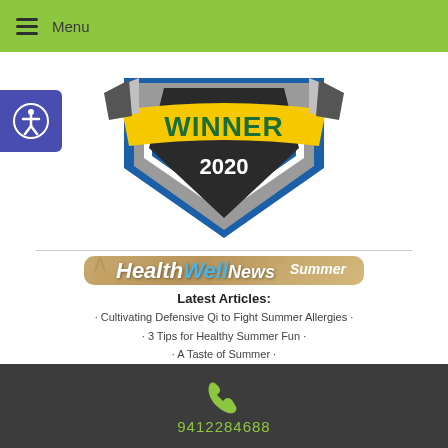Menu
[Figure (logo): Winner 2020 award badge with blue shield shape, yellow banner reading WINNER, and 2020 in silver/black below]
[Figure (logo): HealthWellNews Summer newsletter banner on tan/sandy background with starfish decoration]
Latest Articles:
Cultivating Defensive Qi to Fight Summer Allergies
3 Tips for Healthy Summer Fun
A Taste of Summer
9412284688